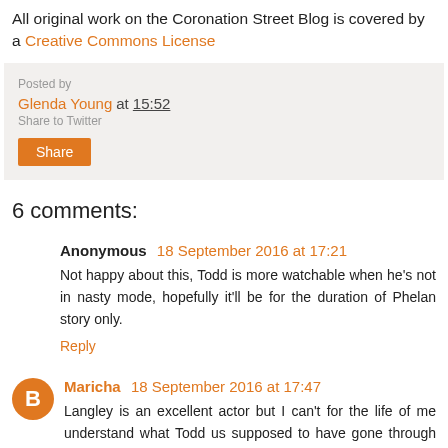All original work on the Coronation Street Blog is covered by a Creative Commons License
Glenda Young at 15:52
Share
6 comments:
Anonymous 18 September 2016 at 17:21
Not happy about this, Todd is more watchable when he's not in nasty mode, hopefully it'll be for the duration of Phelan story only.
Reply
Maricha 18 September 2016 at 17:47
Langley is an excellent actor but I can't for the life of me understand what Todd us supposed to have gone through to make him so negative as he always is. Even David who